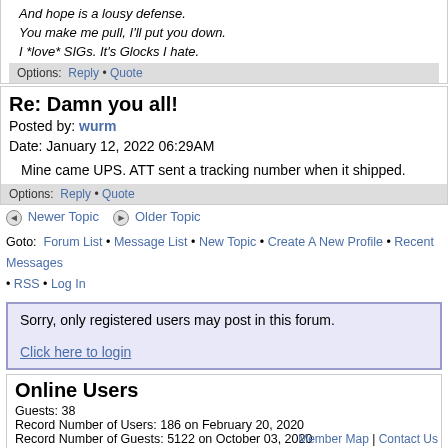And hope is a lousy defense.
You make me pull, I'll put you down.
I *love* SIGs. It's Glocks I hate.
Options: Reply • Quote
Re: Damn you all!
Posted by: wurm
Date: January 12, 2022 06:29AM
Mine came UPS. ATT sent a tracking number when it shipped.
Options: Reply • Quote
◄ Newer Topic   ► Older Topic
Goto: Forum List • Message List • New Topic • Create A New Profile • Recent Messages • RSS • Log In
Sorry, only registered users may post in this forum.

Click here to login
Online Users
Guests: 38
Record Number of Users: 186 on February 20, 2020
Record Number of Guests: 5122 on October 03, 2020
Member Map | Contact Us